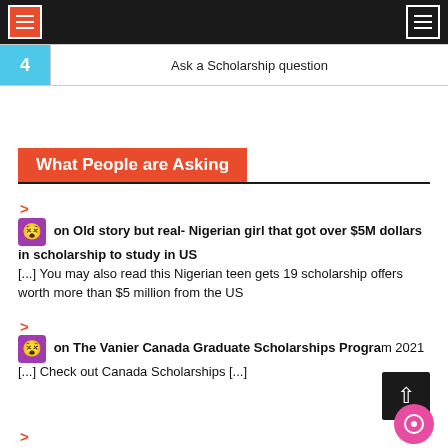Navigation bar with menu buttons
| # | Action |
| --- | --- |
| 4 | Ask a Scholarship question |
What People are Asking
> on Old story but real- Nigerian girl that got over $5M dollars in scholarship to study in US [...] You may also read this Nigerian teen gets 19 scholarship offers worth more than $5 million from the US
> on The Vanier Canada Graduate Scholarships Program 2021 [...] Check out Canada Scholarships [...]
>